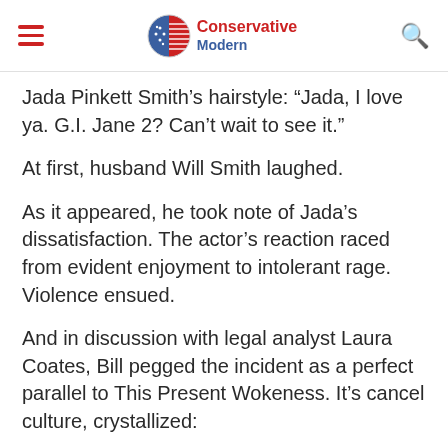Conservative Modern
Jada Pinkett Smith's hairstyle: “Jada, I love ya. G.I. Jane 2? Can’t wait to see it.”
At first, husband Will Smith laughed.
As it appeared, he took note of Jada’s dissatisfaction. The actor’s reaction raced from evident enjoyment to intolerant rage. Violence ensued.
And in discussion with legal analyst Laura Coates, Bill pegged the incident as a perfect parallel to This Present Wokeness. It’s cancel culture, crystallized: